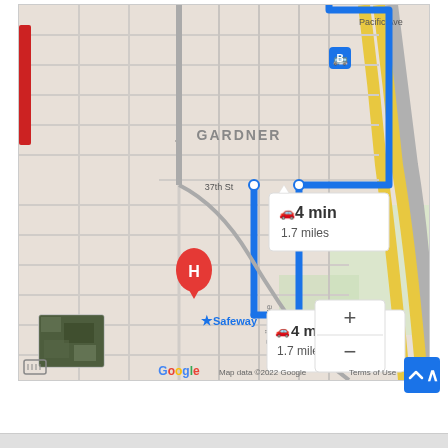[Figure (map): Google Maps screenshot showing a driving route in Everett, WA area. A blue route line shows a path through city streets near the Gardner neighborhood, with street labels including Pacific Ave, Rucker Ave, 37th St, Colby Ave. A red location marker is partially visible on the left. A red/orange H marker (hospital) is visible near 37th St. A Safeway store is labeled. Two route info callouts show '4 min / 1.7 miles' with car icons. Zoom +/- controls are visible on the right. A satellite image thumbnail is in the lower left. Google branding and 'Map data ©2022 Google  Terms of Use' appear at the bottom.]